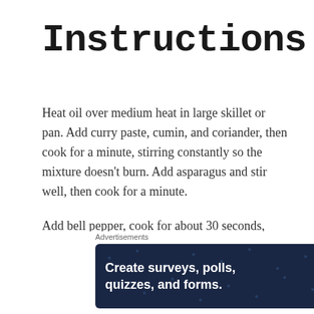Instructions
Heat oil over medium heat in large skillet or pan. Add curry paste, cumin, and coriander, then cook for a minute, stirring constantly so the mixture doesn't burn. Add asparagus and stir well, then cook for a minute.
Add bell pepper, cook for about 30 seconds, then add the carrots strips. Cook for another minute, then add coconut milk, water, peanut
Advertisements
[Figure (other): Advertisement banner for WordPress survey/form creation tool: 'Create surveys, polls, quizzes, and forms.' with WordPress logo and SurveyMonkey-style icon on dark navy background.]